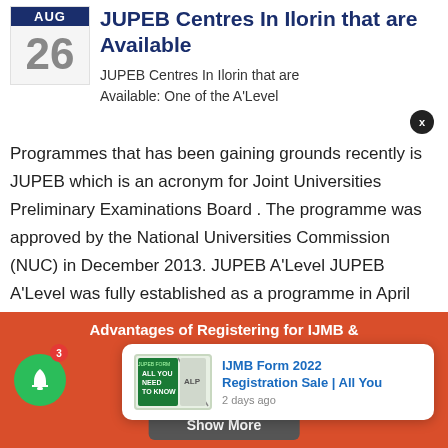JUPEB Centres In Ilorin that are Available
JUPEB Centres In Ilorin that are Available: One of the A'Level Programmes that has been gaining grounds recently is JUPEB which is an acronym for Joint Universities Preliminary Examinations Board . The programme was approved by the National Universities Commission (NUC) in December 2013. JUPEB A'Level JUPEB A'Level was fully established as a programme in April 2014 having ten (10) Nigerian universities as partners.The programme is being
Advantages of Registering for IJMB & JUPEB 20... through...
IJMB Form 2022 Registration Sale | All You
2 days ago
Show More